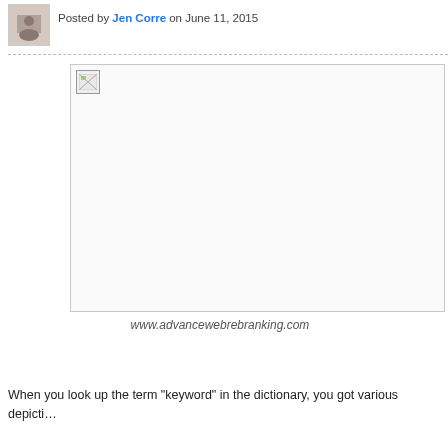Posted by Jen Corre on June 11, 2015
[Figure (photo): A large image placeholder with a broken/missing image icon in the top-left corner. The image area is mostly white/blank with a thin border.]
www.advancewebrebranking.com
When you look up the term "keyword" in the dictionary, you got various depicti...